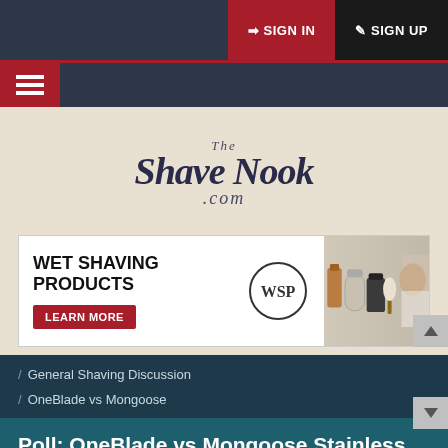SIGN IN  SIGN UP
[Figure (logo): The Shave Nook .com logo in cursive script on beige background]
[Figure (infographic): WET SHAVING PRODUCTS - LEARN MORE ad banner with WSP logo and shaving product photos]
/ General Shaving Discussion
/ OneBlade vs Mongoose
Poll: OneBlade vs Mongoose Stainless Steel
OneBlade